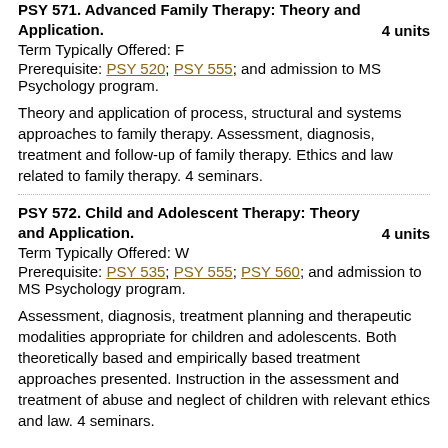PSY 571. Advanced Family Therapy: Theory and Application. 4 units
Term Typically Offered: F
Prerequisite: PSY 520; PSY 555; and admission to MS Psychology program.
Theory and application of process, structural and systems approaches to family therapy. Assessment, diagnosis, treatment and follow-up of family therapy. Ethics and law related to family therapy. 4 seminars.
PSY 572. Child and Adolescent Therapy: Theory and Application. 4 units
Term Typically Offered: W
Prerequisite: PSY 535; PSY 555; PSY 560; and admission to MS Psychology program.
Assessment, diagnosis, treatment planning and therapeutic modalities appropriate for children and adolescents. Both theoretically based and empirically based treatment approaches presented. Instruction in the assessment and treatment of abuse and neglect of children with relevant ethics and law. 4 seminars.